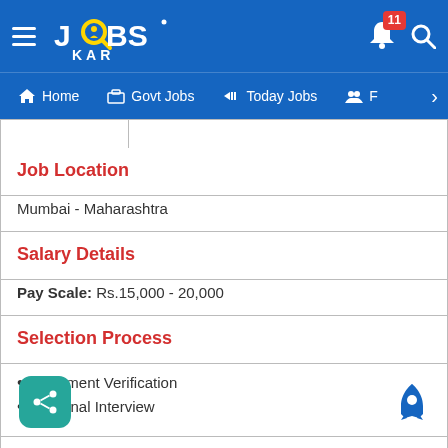[Figure (screenshot): JobsKar app top navigation bar with hamburger menu, logo, bell icon with badge showing 11 notifications, and search icon]
Home | Govt Jobs | Today Jobs | F >
Job Location
Mumbai - Maharashtra
Salary Details
Pay Scale: Rs.15,000 - 20,000
Selection Process
Document Verification
Personal Interview